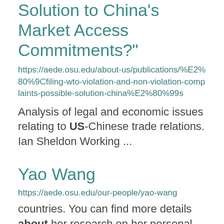Solution to China’s Market Access Commitments?”
https://aede.osu.edu/about-us/publications/%E2%80%9Cfiling-wto-violation-and-non-violation-complaints-possible-solution-china%E2%80%99s
Analysis of legal and economic issues relating to US-Chinese trade relations. Ian Sheldon Working ...
Yao Wang
https://aede.osu.edu/our-people/yao-wang
countries. You can find more details about her research on her personal website (https://www.yaowang.info ...